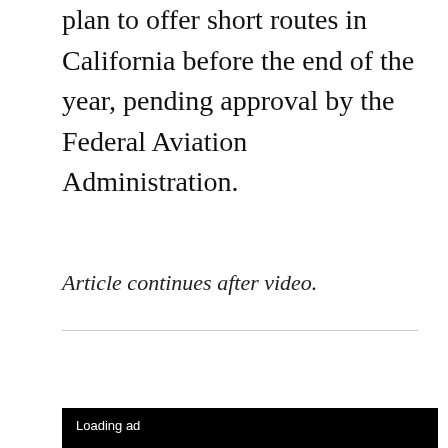plan to offer short routes in California before the end of the year, pending approval by the Federal Aviation Administration.
Article continues after video.
FEATURED VIDEO
An Inc.com Featured Presentation
[Figure (screenshot): Video player with black background showing 'Loading ad' text and a circular loading spinner in the center]